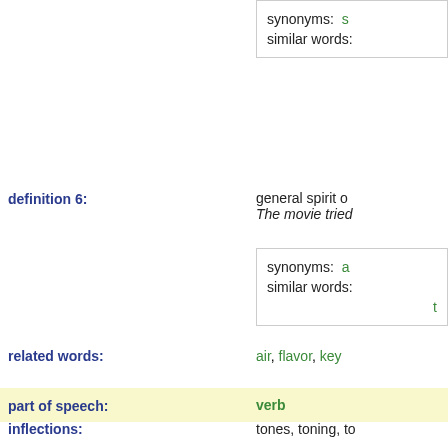synonyms: s
similar words:
definition 6: general spirit o... The movie tried...
synonyms: a
similar words: t
related words: air, flavor, key
part of speech: verb
inflections: tones, toning, to
definition: to make firm. We toned our m